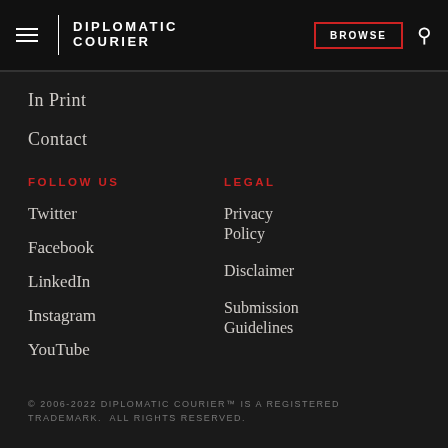DIPLOMATIC COURIER | BROWSE
In Print
Contact
FOLLOW US
LEGAL
Twitter
Privacy Policy
Facebook
Disclaimer
LinkedIn
Submission Guidelines
Instagram
YouTube
© 2006-2022 DIPLOMATIC COURIER™ IS A REGISTERED TRADEMARK.  ALL RIGHTS RESERVED.